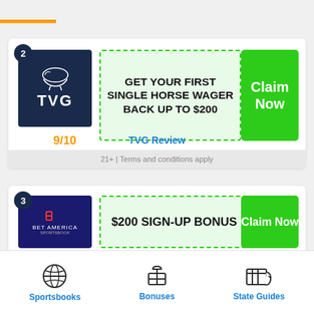[Figure (infographic): TVG sportsbook listing card #2 with logo, promotional offer 'GET YOUR FIRST SINGLE HORSE WAGER BACK UP TO $200', rating 9/10, Claim Now button, and TVG Review link]
21+ | Terms and conditions apply
[Figure (infographic): BetAmerica sportsbook listing card #3 with logo, promotional offer '$200 SIGN-UP BONUS', and Claim Now button]
Sportsbooks
Bonuses
State Guides